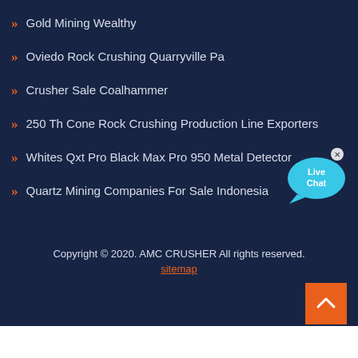Gold Mining Wealthy
Oviedo Rock Crushing Quarryville Pa
Crusher Sale Coalhammer
250 Th Cone Rock Crushing Production Line Exporters
Whites Qxt Pro Black Max Pro 950 Metal Detector
Quartz Mining Companies For Sale Indonesia
[Figure (illustration): Live Chat speech bubble widget with cyan color and close button]
Copyright © 2020. AMC CRUSHER All rights reserved.
sitemap